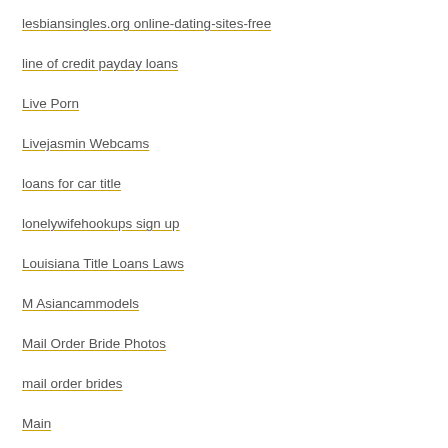lesbiansingles.org online-dating-sites-free
line of credit payday loans
Live Porn
Livejasmin Webcams
loans for car title
lonelywifehookups sign up
Louisiana Title Loans Laws
M Asiancammodels
Mail Order Bride Photos
mail order brides
Main
Maine Title Loans
MalaysianCupid reddit